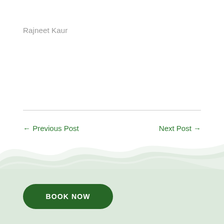Rajneet Kaur
[Figure (illustration): Wavy green decorative background section at the bottom of the page]
← Previous Post
Next Post →
BOOK NOW